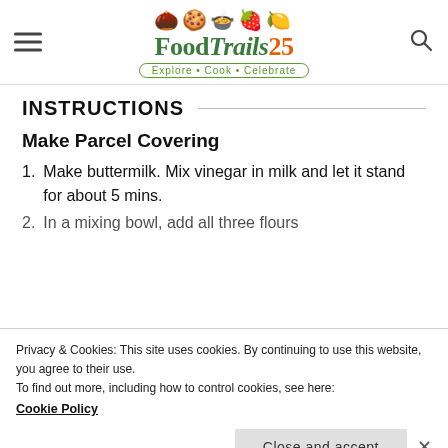[Figure (logo): FoodTrails25 logo with food icons (acorn, cookie, bowl, strawberry, lemon), green text 'FoodTrails25' and tagline 'Explore • Cook • Celebrate']
INSTRUCTIONS
Make Parcel Covering
1. Make buttermilk. Mix vinegar in milk and let it stand for about 5 mins.
2. In a mixing bowl, add all three flours
Privacy & Cookies: This site uses cookies. By continuing to use this website, you agree to their use.
To find out more, including how to control cookies, see here:
Cookie Policy
[Figure (infographic): Ad banner: Leesburg OPEN 10AM-9PM, 241 Fort Evans Rd NE, Leesburg with navigation icon]